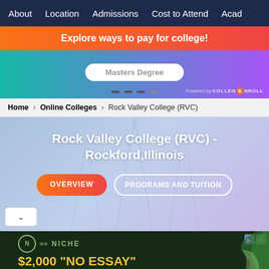About | Location | Admissions | Cost to Attend | Acad...
Explore ways to pay for college!
[Figure (screenshot): Widget showing Masters Degree option with CollegeEnroll branding on teal-to-purple gradient background]
Home > Online Colleges > Rock Valley College (RVC)
Rock Valley College (RVC) - Rockford,Illinois
OVERVIEW | PROGRAMS AND TUITION
[Figure (advertisement): Niche $2,000 No Essay College Scholarship advertisement on dark green background]